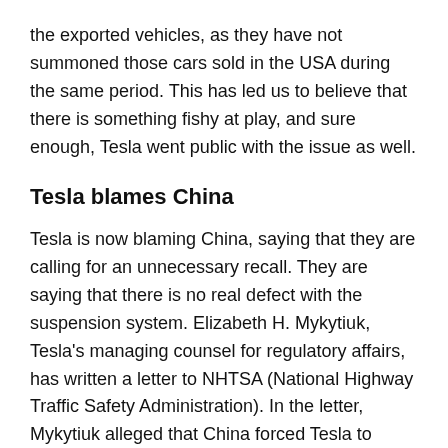the exported vehicles, as they have not summoned those cars sold in the USA during the same period. This has led us to believe that there is something fishy at play, and sure enough, Tesla went public with the issue as well.
Tesla blames China
Tesla is now blaming China, saying that they are calling for an unnecessary recall. They are saying that there is no real defect with the suspension system. Elizabeth H. Mykytiuk, Tesla’s managing counsel for regulatory affairs, has written a letter to NHTSA (National Highway Traffic Safety Administration). In the letter, Mykytiuk alleged that China forced Tesla to issue the recall and that there is no defect in the vehicle design.
Apparently, the SAMR/DPAC left Tesla with two options – issue a recall, or go through the heavy burden of the Chinese